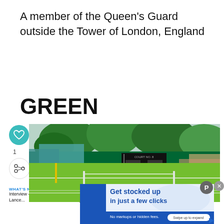A member of the Queen's Guard outside the Tower of London, England
GREEN
[Figure (photo): Wimbledon tennis courts with green surrounds, scoreboards, trees, and stands visible. A net is visible on a grass court in the lower portion. Social media UI elements including heart/like button, share button, count '1', and 'WHAT'S NEXT: Interview – Lance...' with avatar.]
[Figure (infographic): Advertisement banner: 'Get stocked up in just a few clicks. No markups or hidden fees.' with 'Swipe up to expand' button on blue and white background.]